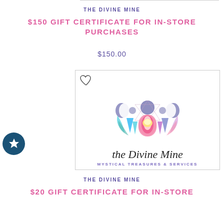THE DIVINE MINE
$150 GIFT CERTIFICATE FOR IN-STORE PURCHASES
$150.00
[Figure (logo): The Divine Mine logo featuring a lotus flower, moon phases, crystals, and the text 'the Divine Mine - Mystical Treasures & Services']
THE DIVINE MINE
$20 GIFT CERTIFICATE FOR IN-STORE